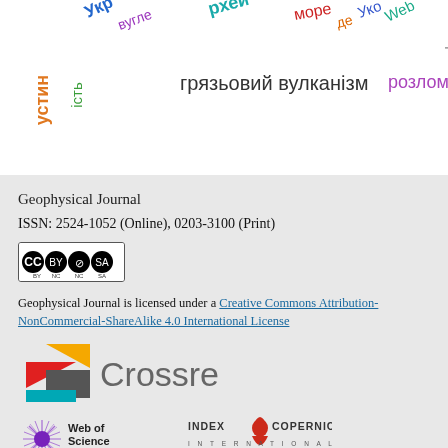[Figure (infographic): Word cloud with Ukrainian geological/geophysical terms in various colors (orange, green, blue, purple, teal, red, gray) arranged in a tag-cloud style layout. Terms include: устин, ість, Укр, вугле, рхей, море, де, Уко, Web, розлом, грязьовий вулканізм, розлом]
Geophysical Journal
ISSN: 2524-1052 (Online), 0203-3100 (Print)
[Figure (logo): Creative Commons BY-NC-SA license badge]
Geophysical Journal is licensed under a Creative Commons Attribution-NonCommercial-ShareAlike 4.0 International License
[Figure (logo): Crossref logo with colorful geometric arrow shapes (yellow, red, dark gray, teal) and gray Crossref text]
[Figure (logo): Web of Science Group logo with purple starburst icon and dark text]
[Figure (logo): Index Copernicus International logo with red figure icon]